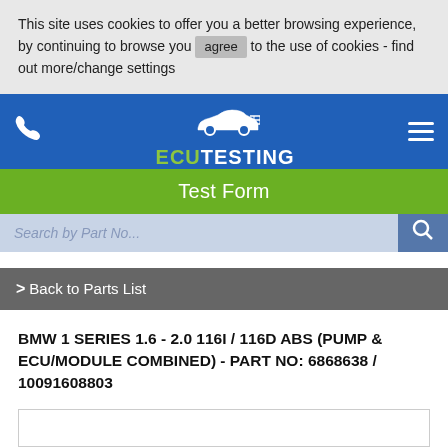This site uses cookies to offer you a better browsing experience, by continuing to browse you agree to the use of cookies - find out more/change settings
[Figure (logo): ECU Testing logo with car icon and circuit lines]
Test Form
Search by Part No...
> Back to Parts List
BMW 1 SERIES 1.6 - 2.0 116I / 116D ABS (PUMP & ECU/MODULE COMBINED) - PART NO: 6868638 / 10091608803